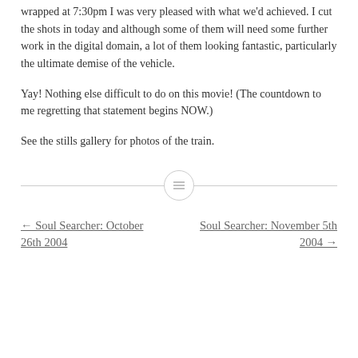wrapped at 7:30pm I was very pleased with what we'd achieved. I cut the shots in today and although some of them will need some further work in the digital domain, a lot of them looking fantastic, particularly the ultimate demise of the vehicle.
Yay! Nothing else difficult to do on this movie! (The countdown to me regretting that statement begins NOW.)
See the stills gallery for photos of the train.
← Soul Searcher: October 26th 2004    Soul Searcher: November 5th 2004 →